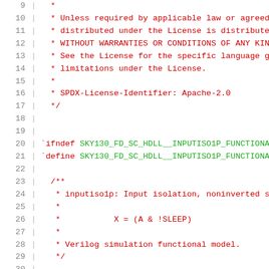Source code listing lines 9-30, Verilog header file with Apache-2.0 license comment and SKY130_FD_SC_HDLL__INPUTISO1P functional model definition